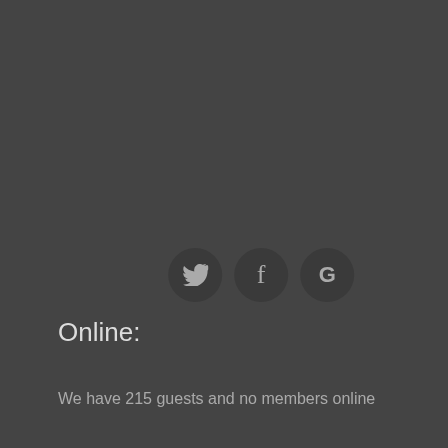[Figure (logo): Three social media icon circles: Twitter (bird icon), Facebook (f), and Google (G), displayed in a row on a dark background]
Online:
We have 215 guests and no members online